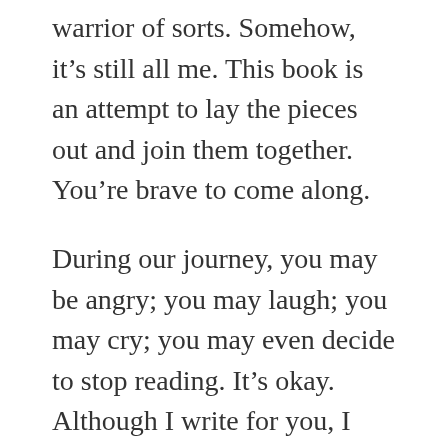warrior of sorts. Somehow, it's still all me. This book is an attempt to lay the pieces out and join them together. You're brave to come along.
During our journey, you may be angry; you may laugh; you may cry; you may even decide to stop reading. It's okay. Although I write for you, I write for me, too. I know the